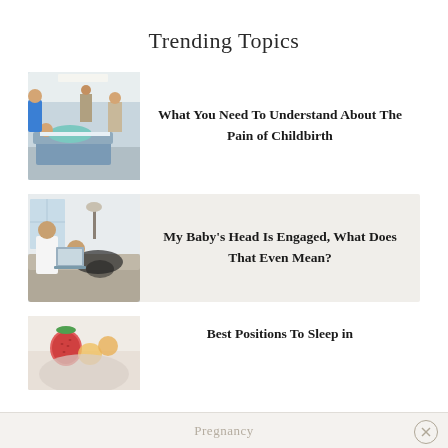Trending Topics
[Figure (photo): Medical scene showing a pregnant woman in a hospital bed being attended by doctors and nurses]
What You Need To Understand About The Pain of Childbirth
[Figure (photo): A couple sitting on a couch, pregnant woman resting while partner uses a laptop]
My Baby's Head Is Engaged, What Does That Even Mean?
[Figure (photo): A pregnant woman lying down with fruit visible, partial view]
Best Positions To Sleep in
Pregnancy